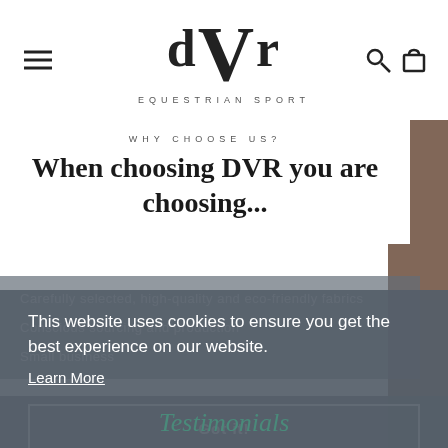[Figure (logo): DVR Equestrian Sport logo with large stylized V in the center]
WHY CHOOSE US?
When choosing DVR you are choosing...
Carefully selected, high-quality and eco-friendly fabrics
Conscious sourcing and production
Small business
This website uses cookies to ensure you get the best experience on our website.
Learn More
Got it!
Testimonials